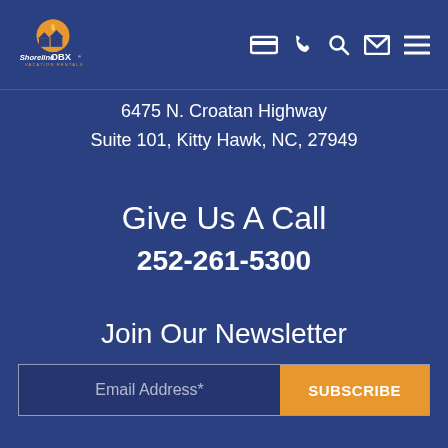Shoreline OBX Vacation Rentals — navigation header with logo and icons
6475 N. Croatan Highway
Suite 101, Kitty Hawk, NC, 27949
Give Us A Call
252-261-5300
Join Our Newsletter
Email Address*  SUBSCRIBE